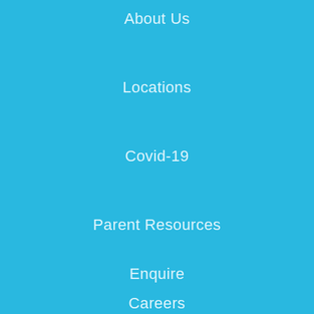About Us
Locations
Covid-19
Parent Resources
Enquire
Careers